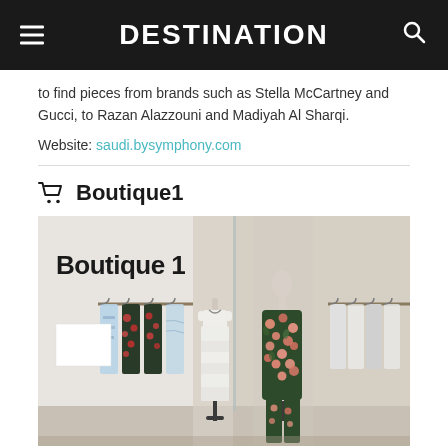DESTINATION
to find pieces from brands such as Stella McCartney and Gucci, to Razan Alazzouni and Madiyah Al Sharqi.
Website: saudi.bysymphony.com
Boutique1
[Figure (photo): Interior of Boutique 1 store showing the storefront sign 'Boutique 1', clothing racks with floral and patterned garments, and two mannequins — one dressed in a white fringe dress and another in a floral green suit.]